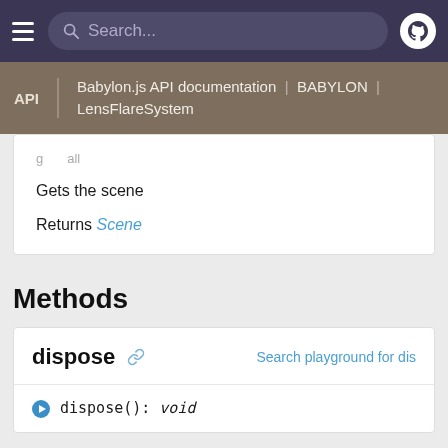Search...
Babylon.js API documentation | BABYLON | LensFlareSystem
Gets the scene
Returns Scene
Methods
dispose
dispose(): void